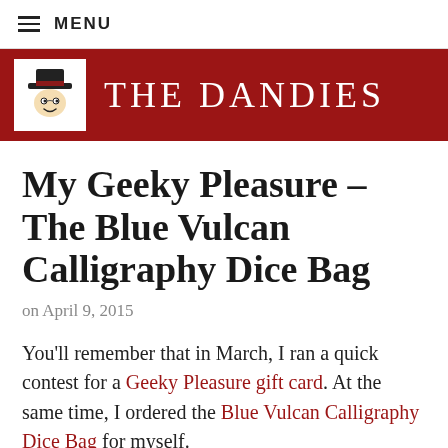MENU
THE DANDIES
My Geeky Pleasure – The Blue Vulcan Calligraphy Dice Bag
on April 9, 2015
You'll remember that in March, I ran a quick contest for a Geeky Pleasure gift card. At the same time, I ordered the Blue Vulcan Calligraphy Dice Bag for myself.